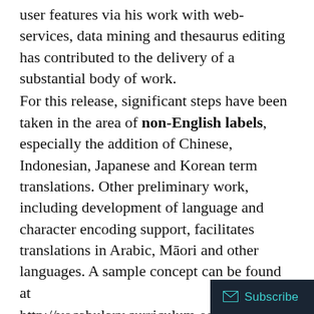user features via his work with web-services, data mining and thesaurus editing has contributed to the delivery of a substantial body of work. For this release, significant steps have been taken in the area of non-English labels, especially the addition of Chinese, Indonesian, Japanese and Korean term translations. Other preliminary work, including development of language and character encoding support, facilitates translations in Arabic, Māori and other languages. A sample concept can be found at http://vocabulary.curriculum.edu.au/scot/976. This work represents a substantial opportunity for ScOT to support users who are learning or who have a background in languages other than English. Online environments can be designed or adapted to take advantage of standardised language encoding and character support. A number of new features and improvements